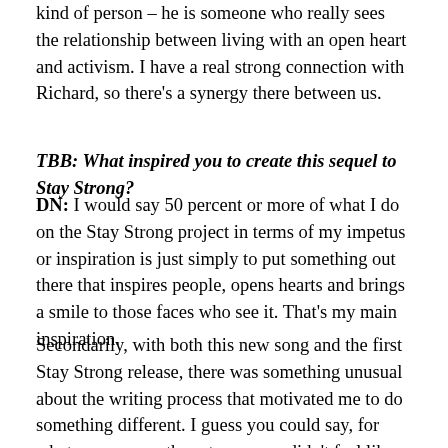kind of person – he is someone who really sees the relationship between living with an open heart and activism. I have a real strong connection with Richard, so there's a synergy there between us.
TBB: What inspired you to create this sequel to Stay Strong?
DN: I would say 50 percent or more of what I do on the Stay Strong project in terms of my impetus or inspiration is just simply to put something out there that inspires people, opens hearts and brings a smile to those faces who see it. That's my main inspiration.
Secondarily, with both this new song and the first Stay Strong release, there was something unusual about the writing process that motivated me to do something different. I guess you could say, for whatever reason, these two songs didn't feel like they